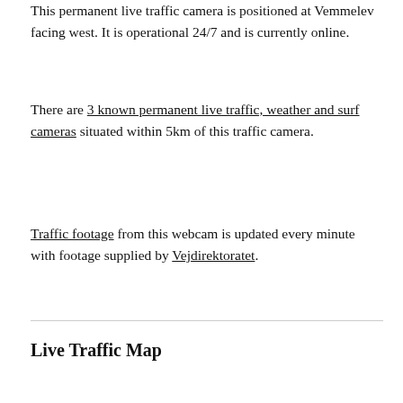This permanent live traffic camera is positioned at Vemmelev facing west. It is operational 24/7 and is currently online.
There are 3 known permanent live traffic, weather and surf cameras situated within 5km of this traffic camera.
Traffic footage from this webcam is updated every minute with footage supplied by Vejdirektoratet.
Live Traffic Map